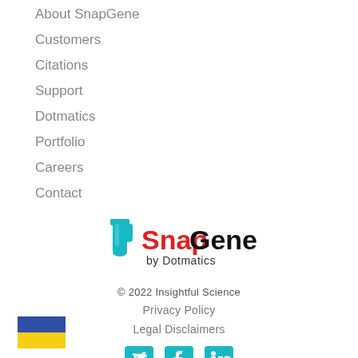About SnapGene
Customers
Citations
Support
Dotmatics
Portfolio
Careers
Contact
[Figure (logo): SnapGene by Dotmatics logo with teal test tube icon, red 'Snap' and black 'Gene' text, and 'by Dotmatics' subtitle]
© 2022 Insightful Science
Privacy Policy
Legal Disclaimers
[Figure (other): Social media icons: Twitter, Facebook, LinkedIn in teal]
[Figure (illustration): Ukraine flag — blue over yellow horizontal stripes]